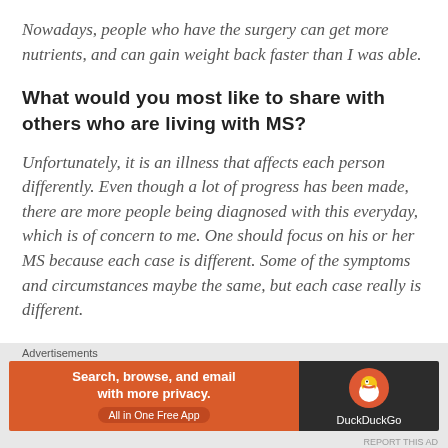Nowadays, people who have the surgery can get more nutrients, and can gain weight back faster than I was able.
What would you most like to share with others who are living with MS?
Unfortunately, it is an illness that affects each person differently. Even though a lot of progress has been made, there are more people being diagnosed with this everyday, which is of concern to me. One should focus on his or her MS because each case is different. Some of the symptoms and circumstances maybe the same, but each case really is different.
Advertisements
[Figure (infographic): DuckDuckGo advertisement banner: orange left panel with text 'Search, browse, and email with more privacy. All in One Free App' and dark right panel with DuckDuckGo logo and name.]